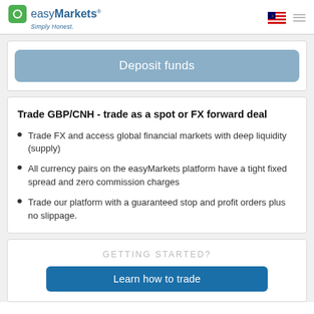easyMarkets Simply Honest.
Deposit funds
Trade GBP/CNH - trade as a spot or FX forward deal
Trade FX and access global financial markets with deep liquidity (supply)
All currency pairs on the easyMarkets platform have a tight fixed spread and zero commission charges
Trade our platform with a guaranteed stop and profit orders plus no slippage.
GETTING STARTED?
Learn how to trade